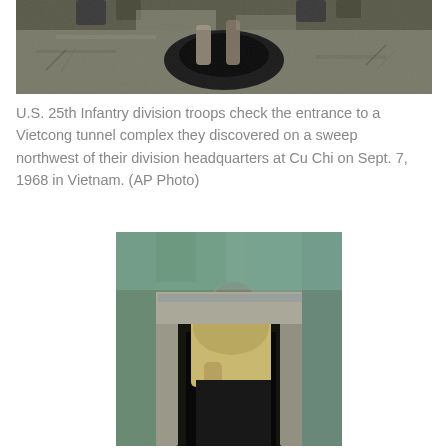[Figure (photo): Black and white photograph showing U.S. 25th Infantry division troops checking the entrance to a Vietcong tunnel complex, viewed from above.]
U.S. 25th Infantry division troops check the entrance to a Vietcong tunnel complex they discovered on a sweep northwest of their division headquarters at Cu Chi on Sept. 7, 1968 in Vietnam. (AP Photo)
[Figure (photo): Color photograph showing a person descending into a tunnel entrance in the ground, viewed from above. The person is wearing a red headband and khaki clothing.]